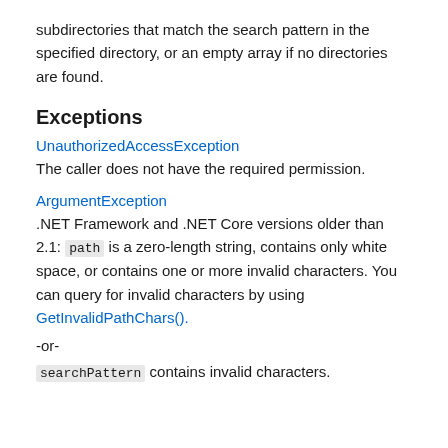subdirectories that match the search pattern in the specified directory, or an empty array if no directories are found.
Exceptions
UnauthorizedAccessException
The caller does not have the required permission.
ArgumentException
.NET Framework and .NET Core versions older than 2.1: path is a zero-length string, contains only white space, or contains one or more invalid characters. You can query for invalid characters by using GetInvalidPathChars().
-or-
searchPattern contains invalid characters.